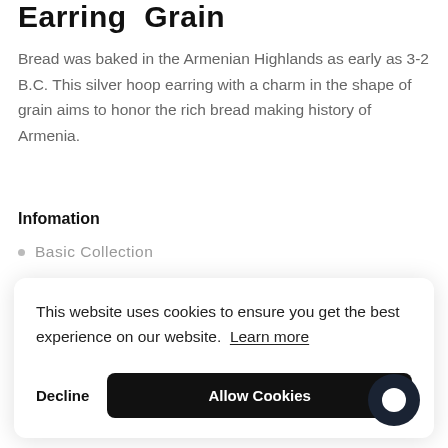Earring Grain
Bread was baked in the Armenian Highlands as early as 3-2 B.C. This silver hoop earring with a charm in the shape of grain aims to honor the rich bread making history of Armenia.
Infomation
Basic Collection
This website uses cookies to ensure you get the best experience on our website. Learn more
Decline   Allow Cookies